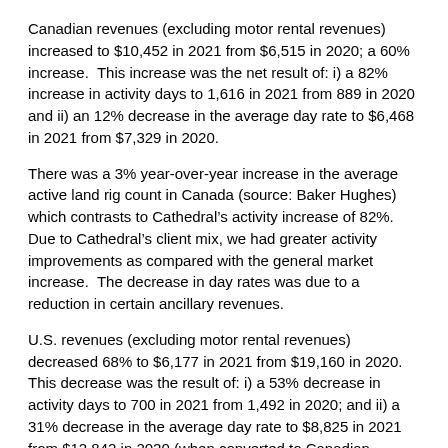Canadian revenues (excluding motor rental revenues) increased to $10,452 in 2021 from $6,515 in 2020; a 60% increase.  This increase was the net result of: i) a 82% increase in activity days to 1,616 in 2021 from 889 in 2020 and ii) an 12% decrease in the average day rate to $6,468 in 2021 from $7,329 in 2020.
There was a 3% year-over-year increase in the average active land rig count in Canada (source: Baker Hughes) which contrasts to Cathedral’s activity increase of 82%.  Due to Cathedral’s client mix, we had greater activity improvements as compared with the general market increase.  The decrease in day rates was due to a reduction in certain ancillary revenues.
U.S. revenues (excluding motor rental revenues) decreased 68% to $6,177 in 2021 from $19,160 in 2020.  This decrease was the result of: i) a 53% decrease in activity days to 700 in 2021 from 1,492 in 2020; and ii) a 31% decrease in the average day rate to $8,825 in 2021 from $12,842 in 2020 (when converted to Canadian dollars).
The average active land rig count for the U.S. was down 29% in